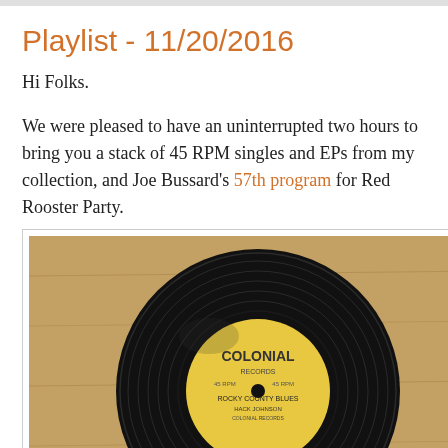Playlist - 11/20/2016
Hi Folks.
We were pleased to have an uninterrupted two hours to bring you a stack of 45 RPM singles and EPs from my collection, and Joe Bussard's 57th program for Red Rooster Party.
[Figure (photo): A Colonial Records 45 RPM vinyl single on a wooden surface]
Artists featured from my 45s included Jim Eanes, The Phipps Family, Wayne Raney, and Hack Johnson (with